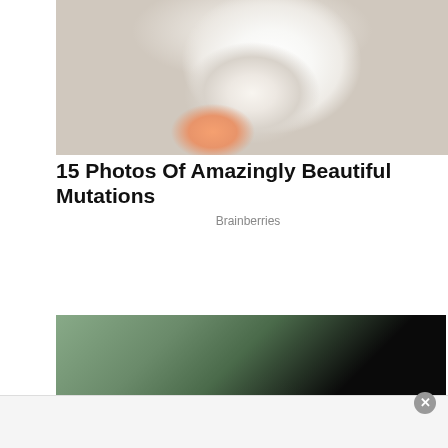[Figure (photo): Close-up photo of a white cat's face/nose area with a hand visible, showing a soft fluffy white cat snout]
15 Photos Of Amazingly Beautiful Mutations
Brainberries
[Figure (photo): Street photo of a woman in black outfit with sunglasses holding a drink cup with a blue straw, walking near cars. A person in a red shirt leans out of a car window toward her.]